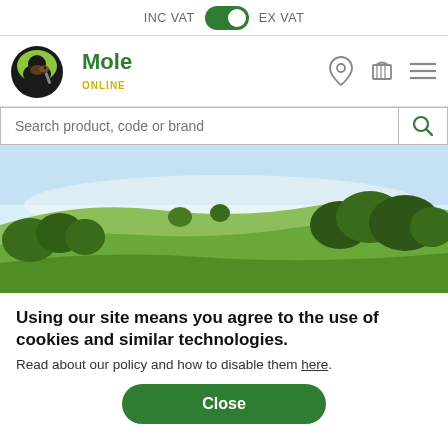INC VAT  [toggle]  EX VAT
[Figure (logo): Mole Online logo — circular black badge with a mole illustration, green 'Mole' text and yellow 'ONLINE' text]
Search product, code or brand
[Figure (photo): Wide landscape photograph of a green field with trees in the background under a light blue sky]
Using our site means you agree to the use of cookies and similar technologies. Read about our policy and how to disable them here.
Close